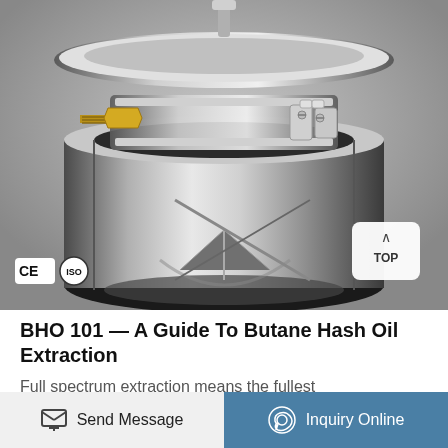[Figure (photo): Close-up photograph of a stainless steel butane hash oil extraction device — a cylindrical metal vessel with clamp fittings, a brass compression fitting on the left, and metal clips holding top and bottom sections together. CE and ISO certification badges visible in lower-left corner. A white 'TOP' button with upward chevron is visible in the lower-right of the image.]
BHO 101 — A Guide To Butane Hash Oil Extraction
Full spectrum extraction means the fullest
Send Message   Inquiry Online